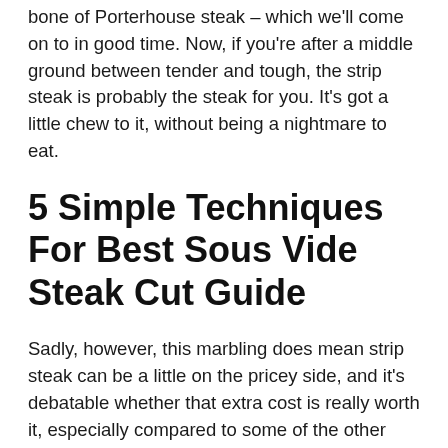bone of Porterhouse steak – which we'll come on to in good time. Now, if you're after a middle ground between tender and tough, the strip steak is probably the steak for you. It's got a little chew to it, without being a nightmare to eat.
5 Simple Techniques For Best Sous Vide Steak Cut Guide
Sadly, however, this marbling does mean strip steak can be a little on the pricey side, and it's debatable whether that extra cost is really worth it, especially compared to some of the other (arguably superior) expensive cuts out there. For the record, you can sometimes find bone in strip steaks (think of